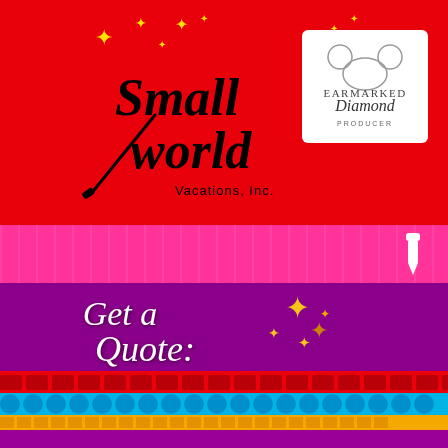[Figure (logo): Small World Vacations Inc. logo on red background with colorful stars]
[Figure (logo): Earmarked Diamond Producer badge with Mickey Mouse ears icon]
[Figure (illustration): Pink navigation band with paintbrush/pointer icon on right]
[Figure (illustration): Purple Get a Quote banner with gold sparkle stars decoration]
[Figure (illustration): Red decorative pattern band]
[Figure (illustration): Blue decorative pattern band with circles]
[Figure (illustration): Orange decorative pattern band]
[Figure (illustration): Purple decorative bottom band]